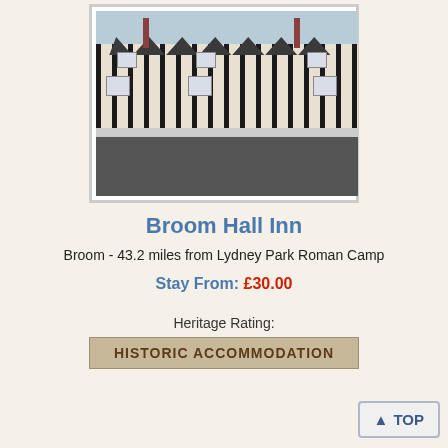[Figure (photo): Photograph of Broom Hall Inn, a Tudor-style black and white timber-framed building with multiple gables and dormer windows, viewed from the front across a car park]
Broom Hall Inn
Broom - 43.2 miles from Lydney Park Roman Camp
Stay From: £30.00
Heritage Rating:
HISTORIC ACCOMMODATION